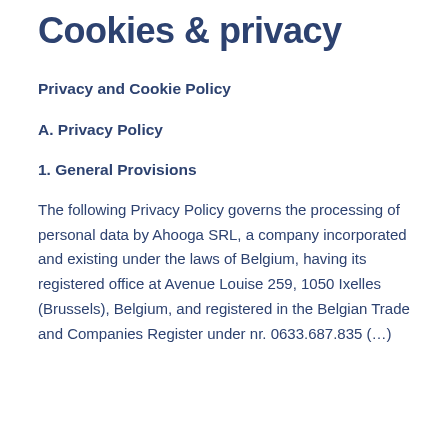Cookies & privacy
Privacy and Cookie Policy
A. Privacy Policy
1. General Provisions
The following Privacy Policy governs the processing of personal data by Ahooga SRL, a company incorporated and existing under the laws of Belgium, having its registered office at Avenue Louise 259, 1050 Ixelles (Brussels), Belgium, and registered in the Belgian Trade and Companies Register under nr. 0633.687.835 (…)